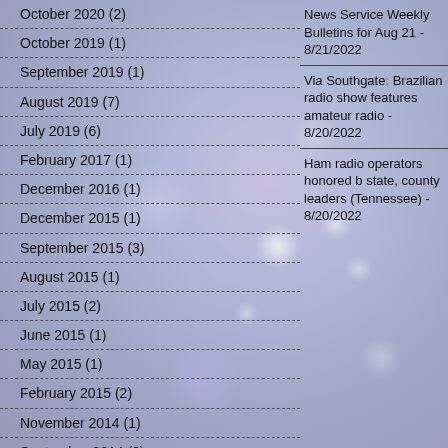October 2020 (2)
October 2019 (1)
September 2019 (1)
August 2019 (7)
July 2019 (6)
February 2017 (1)
December 2016 (1)
December 2015 (1)
September 2015 (3)
August 2015 (1)
July 2015 (2)
June 2015 (1)
May 2015 (1)
February 2015 (2)
November 2014 (1)
September 2014 (2)
January 2014 (1)
December 2013 (1)
November 2013 (1)
News Service Weekly Bulletins for Aug 21 - 8/21/2022
Via Southgate: Brazilian radio show features amateur radio - 8/20/2022
Ham radio operators honored b state, county leaders (Tennessee) - 8/20/2022